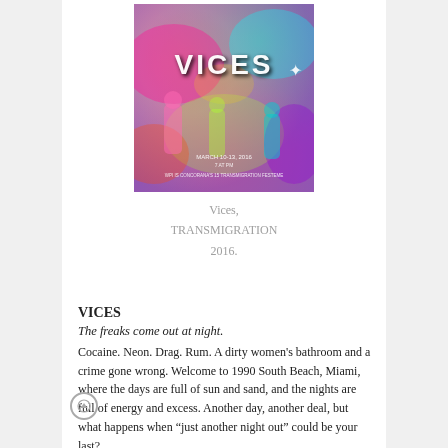[Figure (photo): Colorful event poster for VICES: TRANSMIGRATION 2016 with bright neon colors, festival imagery, and the text 'VICES' prominently displayed]
Vices,
TRANSMIGRATION
2016.
VICES
The freaks come out at night.
Cocaine. Neon. Drag. Rum. A dirty women’s bathroom and a crime gone wrong. Welcome to 1990 South Beach, Miami, where the days are full of sun and sand, and the nights are full of energy and excess. Another day, another deal, but what happens when “just another night out” could be your last?
Featuring: Rachel Baumgarten, Arielle de Versterre, Emily Walton, Julia Notzer, Carissa Cardy, Mafer Del Real, Derek